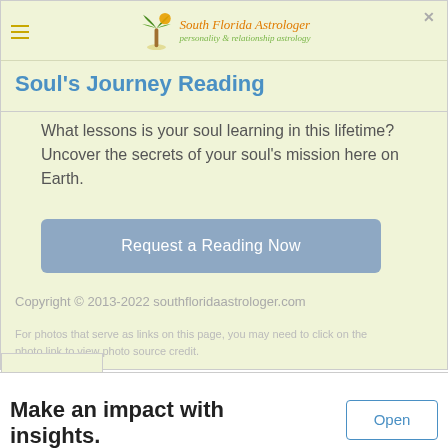South Florida Astrologer — personality & relationship astrology
Soul's Journey Reading
What lessons is your soul learning in this lifetime? Uncover the secrets of your soul's mission here on Earth.
Request a Reading Now
Copyright © 2013-2022 southfloridaastrologer.com
For photos that serve as links on this page, you may need to click on the photo link to view photo source credit.
Make an impact with insights.
Conversational Assistant for Data & Insights Sense Forth
Open